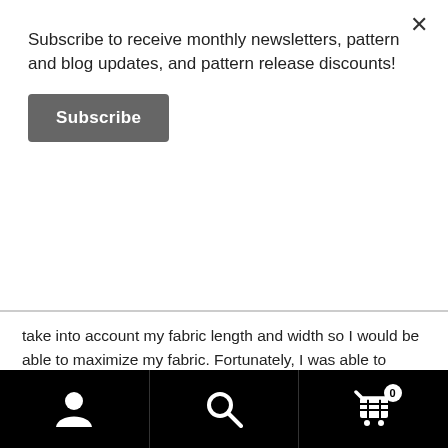Subscribe to receive monthly newsletters, pattern and blog updates, and pattern release discounts!
Subscribe
take into account my fabric length and width so I would be able to maximize my fabric. Fortunately, I was able to divide the sizes of 6 individuals into 3 apron widths, i.e. 2 aprons at 31″ wide, 2 aprons at 33″ wise and 2 at 36″ wide. For the length, I decided to make them all the same by dividing the fabric width of 57″ in half and cutting the aprons out on the cross-grain. This allowed me to get 2 aprons for each width that I needed. This also meant that the aprons ended up being a bit short.
0